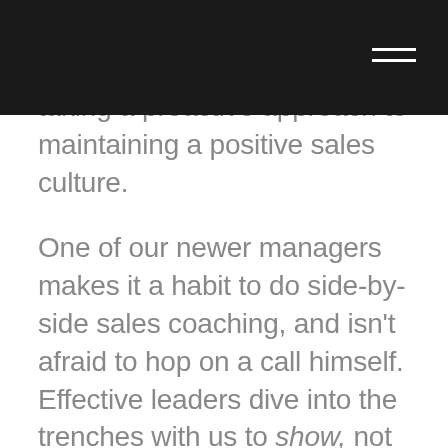taking a proactive approach to maintaining a positive sales culture.

One of our newer managers makes it a habit to do side-by-side sales coaching, and isn't afraid to hop on a call himself. Effective leaders dive into the trenches with us to show, not tell.

When external leadership is brought onto the sales team, this will inevitably cause push-back from